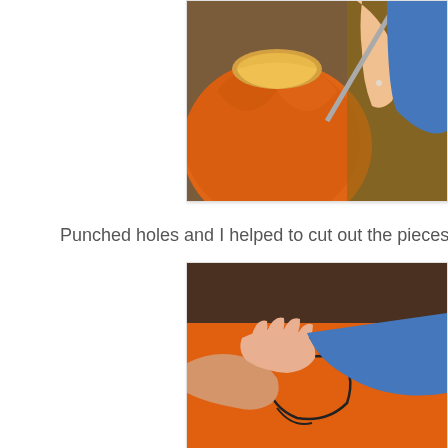[Figure (photo): Close-up photo of a child carving a pumpkin with a tool, showing hands and the orange pumpkin with its top cut off revealing the inside]
Punched holes and I helped to cut out the pieces...
[Figure (photo): Photo of hands working on a pumpkin with drawn pattern on it, hands appear to be cutting or punching the pumpkin surface]